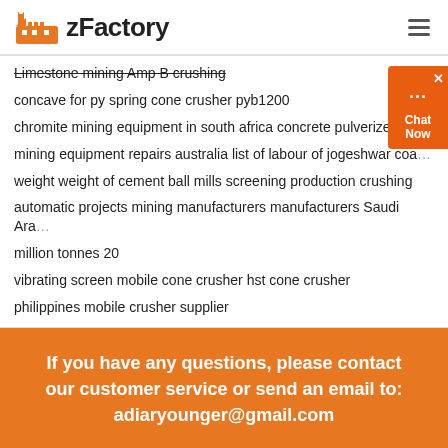zFactory
Limestone mining Amp B crushing
concave for py spring cone crusher pyb1200
chromite mining equipment in south africa concrete pulverizer sale
mining equipment repairs australia list of labour of jogeshwar coal
weight weight of cement ball mills screening production crushing
automatic projects mining manufacturers manufacturers Saudi Arabia
million tonnes 20
vibrating screen mobile cone crusher hst cone crusher
philippines mobile crusher supplier
If you have any questions, please contact our customer service or send an email to: adiaryounger@gmail.com
ABOUT US